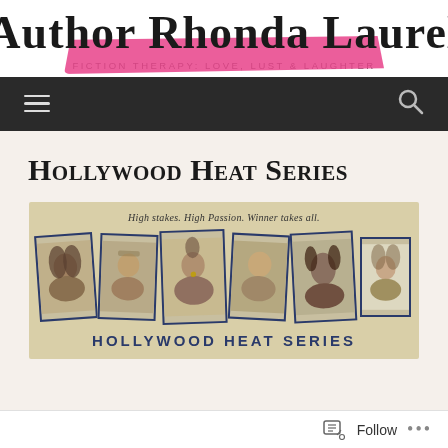Author Rhonda Laurel
Fiction Therapy: Love, Lust & Laughter
[Figure (screenshot): Dark navigation bar with hamburger menu icon on left and search icon on right]
Hollywood Heat Series
[Figure (illustration): Hollywood Heat Series banner with sepia-toned photos of several models/actors arranged in overlapping polaroid-style frames on a tan background, with text 'High stakes. High Passion. Winner takes all.' at top and 'HOLLYWOOD HEAT SERIES' in bold blue text at bottom]
Follow ...